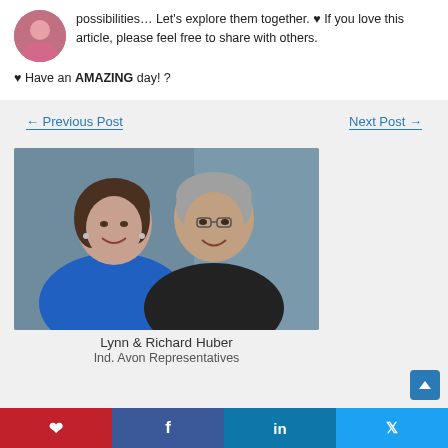possibilities… Let's explore them together. ♥ If you love this article, please feel free to share with others.
♥ Have an AMAZING day! ?
← Previous Post
Next Post →
[Figure (photo): Portrait photo of Lynn and Richard Huber, a couple smiling. Woman on left wearing blue, man on right wearing dark jacket, grey background.]
Lynn & Richard Huber
Ind. Avon Representatives